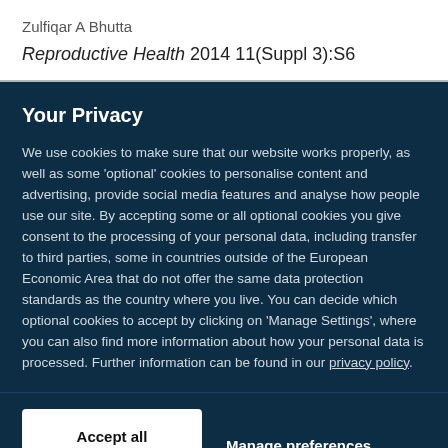Zulfiqar A Bhutta
Reproductive Health 2014 11(Suppl 3):S6
Your Privacy
We use cookies to make sure that our website works properly, as well as some ‘optional’ cookies to personalise content and advertising, provide social media features and analyse how people use our site. By accepting some or all optional cookies you give consent to the processing of your personal data, including transfer to third parties, some in countries outside of the European Economic Area that do not offer the same data protection standards as the country where you live. You can decide which optional cookies to accept by clicking on ‘Manage Settings’, where you can also find more information about how your personal data is processed. Further information can be found in our privacy policy.
Accept all cookies
Manage preferences